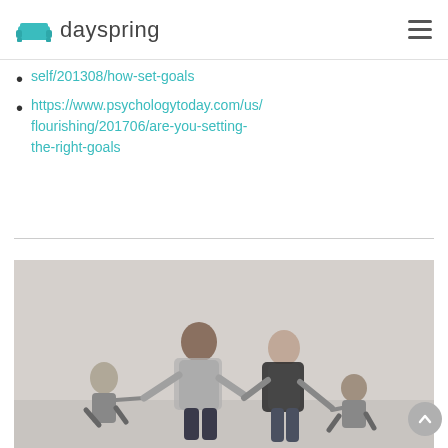dayspring
self/201308/how-set-goals
https://www.psychologytoday.com/us/flourishing/201706/are-you-setting-the-right-goals
[Figure (photo): A family of four — a man, a woman, and two young children — walking and playing together on a light grey background. The parents are holding the children's hands. The image has a casual, candid feel.]